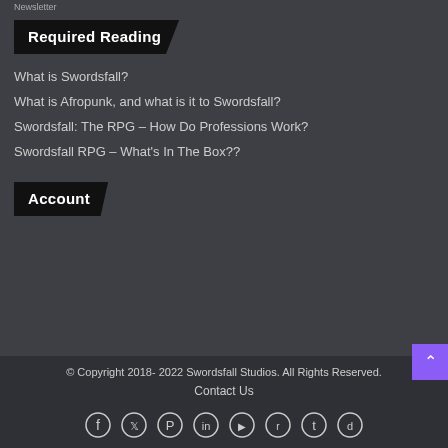Newsletter
Required Reading
What is Swordsfall?
What is Afropunk, and what is it to Swordsfall?
Swordsfall: The RPG – How Do Professions Work?
Swordsfall RPG – What's In The Box??
Account
© Copyright 2018- 2022 Swordsfall Studios. All Rights Reserved.
Contact Us